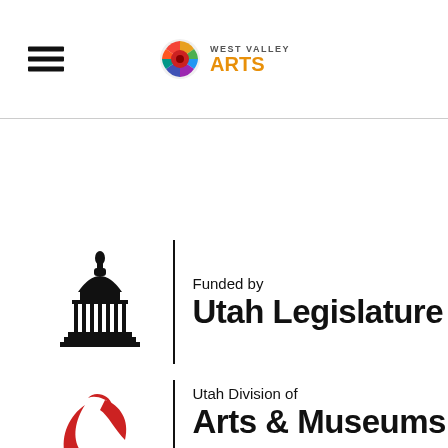West Valley Arts
[Figure (logo): West Valley Arts logo with colorful circular emblem and text 'WEST VALLEY ARTS' in orange]
[Figure (logo): Utah Legislature logo with capitol building silhouette and text 'Funded by Utah Legislature']
[Figure (logo): Utah Division of Arts & Museums logo with red abstract art icon and text 'Utah Division of Arts & Museums']